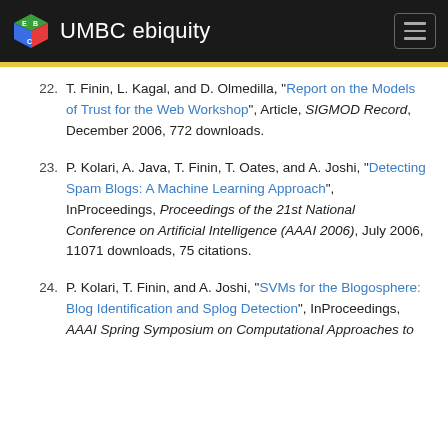UMBC ebiquity
22. T. Finin, L. Kagal, and D. Olmedilla, "Report on the Models of Trust for the Web Workshop", Article, SIGMOD Record, December 2006, 772 downloads.
23. P. Kolari, A. Java, T. Finin, T. Oates, and A. Joshi, "Detecting Spam Blogs: A Machine Learning Approach", InProceedings, Proceedings of the 21st National Conference on Artificial Intelligence (AAAI 2006), July 2006, 11071 downloads, 75 citations.
24. P. Kolari, T. Finin, and A. Joshi, "SVMs for the Blogosphere: Blog Identification and Splog Detection", InProceedings, AAAI Spring Symposium on Computational Approaches to